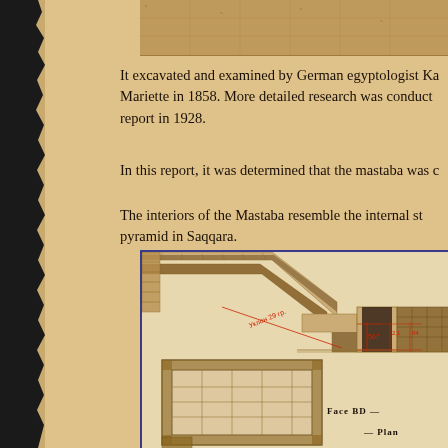[Figure (photo): Top portion of an ancient stone structure or mastaba, sepia-toned photograph]
It excavated and examined by German egyptologist Ka... Mariette in 1858. More detailed research was conduct... report in 1928.
In this report, it was determined that the mastaba was c...
The interiors of the Mastaba resemble the internal st... pyramid in Saqqara.
[Figure (engineering-diagram): Architectural cross-section and plan drawing of the Mastaba interior, showing a diagonal passage/corridor with label 'Уклон 29 гр.' (slope 29 degrees), measurement '567', floor plan view labeled 'Face BD', and a plan view label 'Plan'. Sepia and red ink on light background.]